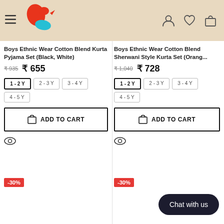Navigation header with menu, logo, user, wishlist, cart icons
Boys Ethnic Wear Cotton Blend Kurta Pyjama Set (Black, White)
₹ 935  ₹ 655
1-2Y  2-3Y  3-4Y  4-5Y
ADD TO CART
Boys Ethnic Wear Cotton Blend Sherwani Style Kurta Set (Orang...
₹ 1,040  ₹ 728
1-2Y  2-3Y  3-4Y  4-5Y
ADD TO CART
-30%
-30%
Chat with us